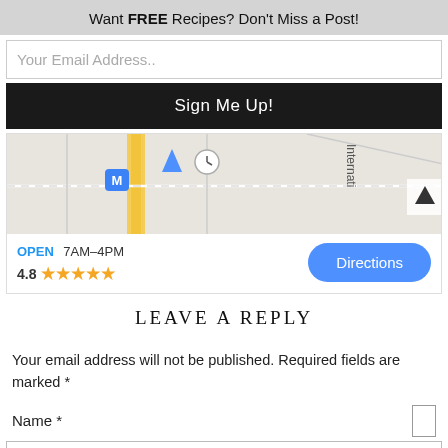Want FREE Recipes? Don't Miss a Post!
Your Email Address..
Sign Me Up!
[Figure (map): Google Maps embed showing location with M marker, blue triangle pin, road lines, and navigation arrow]
OPEN 7AM–4PM
4.8 ★★★★★
Directions
LEAVE A REPLY
Your email address will not be published. Required fields are marked *
Name *